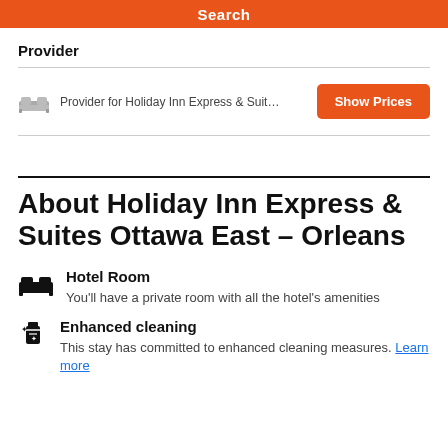Search
Provider
Provider for Holiday Inn Express & Suites Ottawa East – Orle…
About Holiday Inn Express & Suites Ottawa East - Orleans
Hotel Room
You'll have a private room with all the hotel's amenities
Enhanced cleaning
This stay has committed to enhanced cleaning measures. Learn more